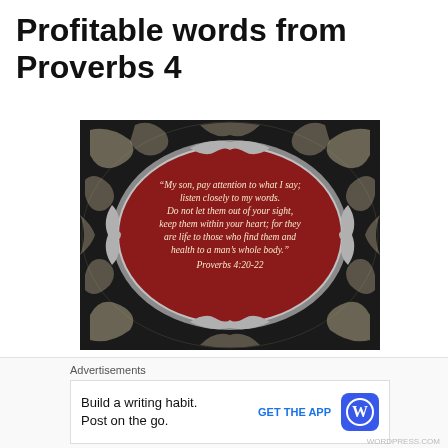Profitable words from Proverbs 4
[Figure (illustration): Decorative image with black and white damask pattern background and a red oval medallion in the center containing a Bible verse in italic white/cream text: '"My son, pay attention to what I say; listen closely to my words. Do not let them out of your sight, keep them within your heart; for they are life to those who find them and health to a man's whole body." Proverbs 4:20-22']
I am so grateful for the mercy and grace God has given us who believe in and choose to  follow His Son. We are
Advertisements
Build a writing habit.
Post on the go.